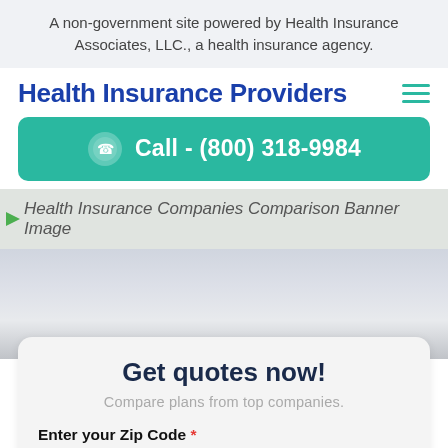A non-government site powered by Health Insurance Associates, LLC., a health insurance agency.
Health Insurance Providers
[Figure (other): Teal Call-to-action button with phone icon and text: Call - (800) 318-9984]
[Figure (other): Health Insurance Companies Comparison Banner Image (partially visible, alt text shown)]
Get quotes now!
Compare plans from top companies.
Enter your Zip Code *